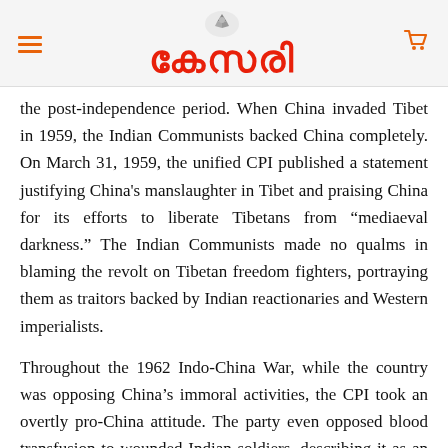കേസരി
the post-independence period. When China invaded Tibet in 1959, the Indian Communists backed China completely. On March 31, 1959, the unified CPI published a statement justifying China's manslaughter in Tibet and praising China for its efforts to liberate Tibetans from "mediaeval darkness." The Indian Communists made no qualms in blaming the revolt on Tibetan freedom fighters, portraying them as traitors backed by Indian reactionaries and Western imperialists.
Throughout the 1962 Indo-China War, while the country was opposing China's immoral activities, the CPI took an overtly pro-China attitude. The party even opposed blood transfusion to wounded Indian soldiers, describing it as an "anti-party operation," and Communist leader and Kerala Chief Minister EMS Namboodiripad publicly backed the Chinese. Namboodiripad refrained from referring to China's invasion